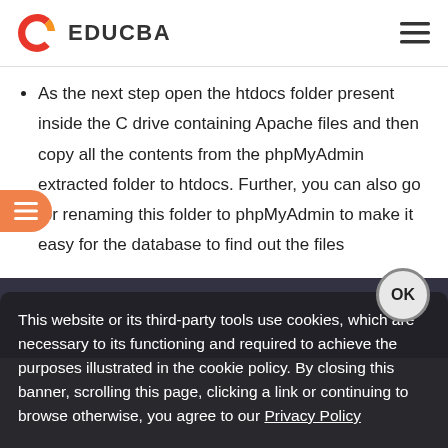EDUCBA
As the next step open the htdocs folder present inside the C drive containing Apache files and then copy all the contents from the phpMyAdmin extracted folder to htdocs. Further, you can also go for renaming this folder to phpMyAdmin to make it easy for the database to find out the files
This website or its third-party tools use cookies, which are necessary to its functioning and required to achieve the purposes illustrated in the cookie policy. By closing this banner, scrolling this page, clicking a link or continuing to browse otherwise, you agree to our Privacy Policy